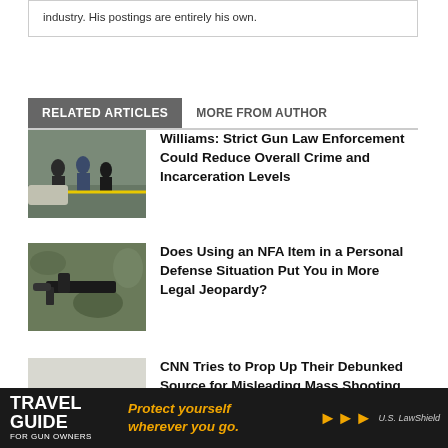industry. His postings are entirely his own.
RELATED ARTICLES   MORE FROM AUTHOR
Williams: Strict Gun Law Enforcement Could Reduce Overall Crime and Incarceration Levels
Does Using an NFA Item in a Personal Defense Situation Put You in More Legal Jeopardy?
CNN Tries to Prop Up Their Debunked Source for Misleading Mass Shooting Data
[Figure (photo): Ad banner: Travel Guide for Gun Owners — Protect yourself wherever you go. U.S. LawShield]